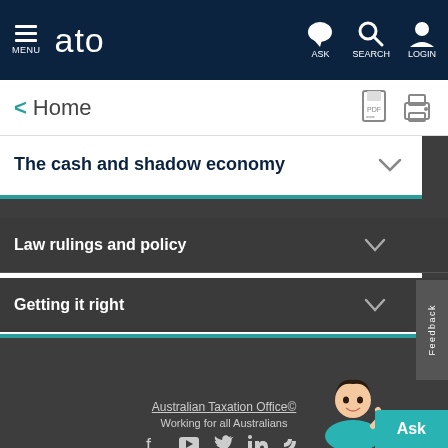MENU  ato  ASK  SEARCH  LOGIN
< Home
The cash and shadow economy
Law rulings and policy
Getting it right
Australian Taxation Office© Working for all Australians